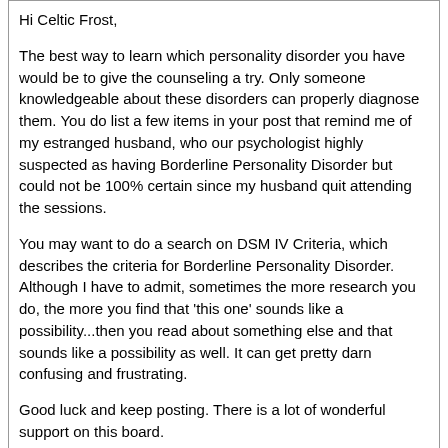Hi Celtic Frost,

The best way to learn which personality disorder you have would be to give the counseling a try. Only someone knowledgeable about these disorders can properly diagnose them. You do list a few items in your post that remind me of my estranged husband, who our psychologist highly suspected as having Borderline Personality Disorder but could not be 100% certain since my husband quit attending the sessions.

You may want to do a search on DSM IV Criteria, which describes the criteria for Borderline Personality Disorder. Although I have to admit, sometimes the more research you do, the more you find that 'this one' sounds like a possibility...then you read about something else and that sounds like a possibility as well. It can get pretty darn confusing and frustrating.

Good luck and keep posting. There is a lot of wonderful support on this board.
rosequartz
10-28-2005 12:55 PM
Re: not sure what personality disorder I have
sounds like BPD with a touch of NPD, narcissistic personality disorder
porcupine_tree